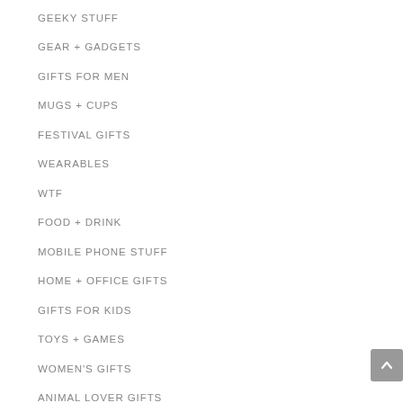GEEKY STUFF
GEAR + GADGETS
GIFTS FOR MEN
MUGS + CUPS
FESTIVAL GIFTS
WEARABLES
WTF
FOOD + DRINK
MOBILE PHONE STUFF
HOME + OFFICE GIFTS
GIFTS FOR KIDS
TOYS + GAMES
WOMEN'S GIFTS
ANIMAL LOVER GIFTS